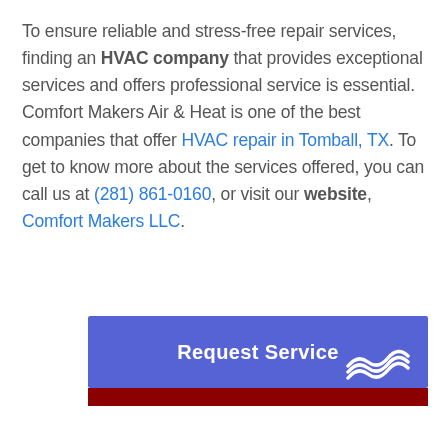To ensure reliable and stress-free repair services, finding an HVAC company that provides exceptional services and offers professional service is essential. Comfort Makers Air & Heat is one of the best companies that offer HVAC repair in Tomball, TX. To get to know more about the services offered, you can call us at (281) 861-0160, or visit our website, Comfort Makers LLC.
[Figure (other): Blue button with text 'Request Service' and decorative wave logo in bottom right corner, with a dark red bar below]